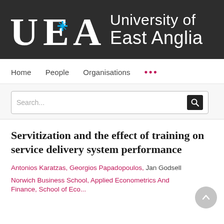[Figure (logo): University of East Anglia (UEA) logo — white UEA letters with cyan star on dark background, with 'University of East Anglia' text in white]
Home   People   Organisations   ...
Search...
Servitization and the effect of training on service delivery system performance
Antonios Karatzas, Georgios Papadopoulos, Jan Godsell
Norwich Business School, Applied Econometrics And Finance, School of Economics